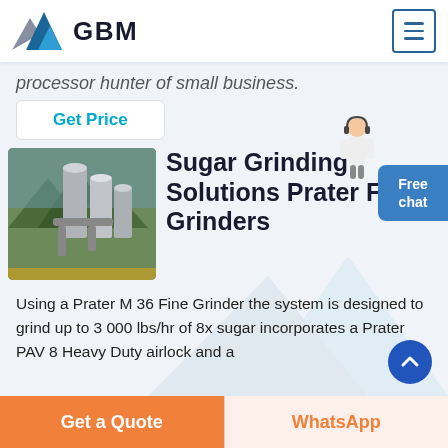[Figure (logo): GBM logo with blue mountain/arrow graphic and bold GBM text]
processor hunter of small business.
Get Price
[Figure (photo): Industrial grinding/milling facility with large cylindrical silos and piping]
Sugar Grinding Solutions Prater Fine Grinders
Using a Prater M 36 Fine Grinder the system is designed to grind up to 3 000 lbs/hr of 8x sugar incorporates a Prater PAV 8 Heavy Duty airlock and a
Free chat
Get a Quote
WhatsApp